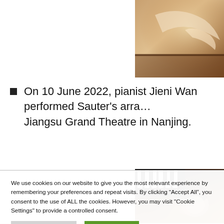[Figure (photo): Partial view of a person in white clothing with arm extended, possibly at a piano or conducting, warm brown tones]
On 10 June 2022, pianist Jieni Wan performed Sauter’s arra… Jiangsu Grand Theatre in Nanjing.
[Figure (photo): Portrait of a woman with short hair resting chin on hand, seated near piano keys, dark moody background]
We use cookies on our website to give you the most relevant experience by remembering your preferences and repeat visits. By clicking “Accept All”, you consent to the use of ALL the cookies. However, you may visit "Cookie Settings" to provide a controlled consent.